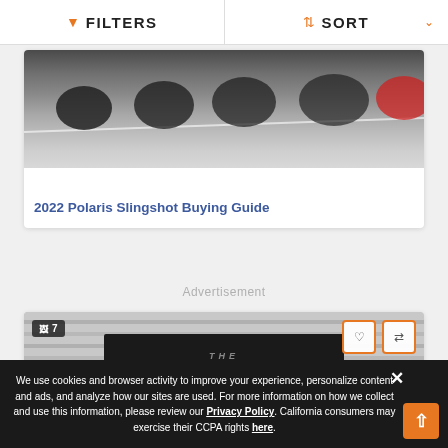FILTERS   SORT
[Figure (photo): Motorcycles on a racing track, partial view showing riders and track surface]
2022 Polaris Slingshot Buying Guide
Advertisement
[Figure (photo): The Cycle something banner/sign on a building, with 7 photos indicator and heart/compare icons]
We use cookies and browser activity to improve your experience, personalize content and ads, and analyze how our sites are used. For more information on how we collect and use this information, please review our Privacy Policy. California consumers may exercise their CCPA rights here.